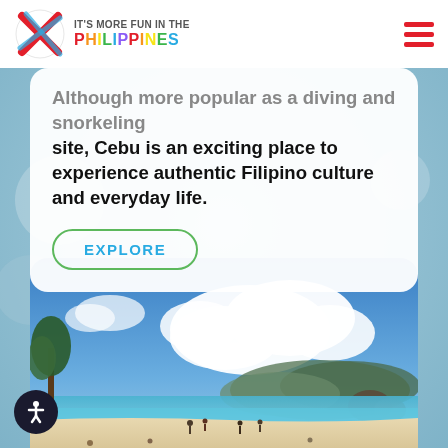IT'S MORE FUN IN THE PHILIPPINES
...though more popular as a diving and snorkeling site, Cebu is an exciting place to experience authentic Filipino culture and everyday life.
EXPLORE
[Figure (photo): Beach scene with blue sky, white clouds, turquoise water, sandy beach with people, green hills in background — likely Boracay, Philippines]